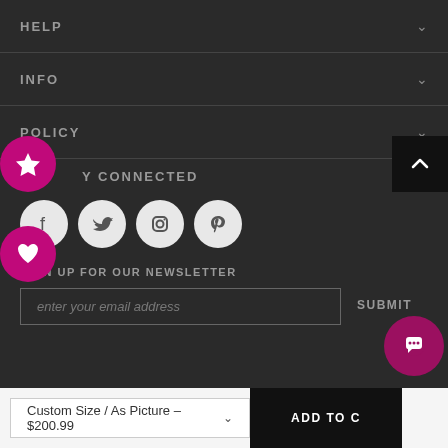HELP
INFO
POLICY
STAY CONNECTED
[Figure (illustration): Social media icons: Facebook, Twitter, Instagram, Pinterest in white circles on dark background]
SIGN UP FOR OUR NEWSLETTER
enter your email address
SUBMIT
Custom Size / As Picture - $200.99
ADD TO C...